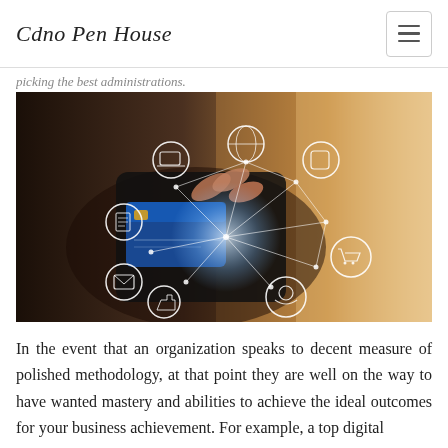Cdno Pen House
picking the best administrations.
[Figure (photo): A person using a smartphone with digital payment/connectivity icons overlaid, including globe, laptop, tablet, document, envelope, shopping cart, and identity icons connected by a network of dots and lines, suggesting digital commerce and connectivity.]
In the event that an organization speaks to decent measure of polished methodology, at that point they are well on the way to have wanted mastery and abilities to achieve the ideal outcomes for your business achievement. For example, a top digital